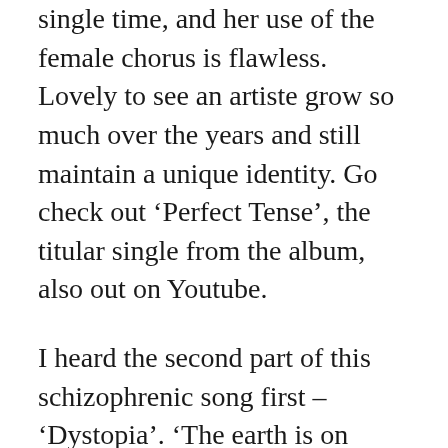single time, and her use of the female chorus is flawless. Lovely to see an artiste grow so much over the years and still maintain a unique identity. Go check out ‘Perfect Tense’, the titular single from the album, also out on Youtube.
I heard the second part of this schizophrenic song first – ‘Dystopia’. ‘The earth is on fire/We don’t have no daughter/let the motherfucker burn’ was something that got into my head instantly. Found out the first part ‘Utopia’, and it was like Kraftwerk ate mushrooms and had wild monkey sex with a Korg arpeggiator to come